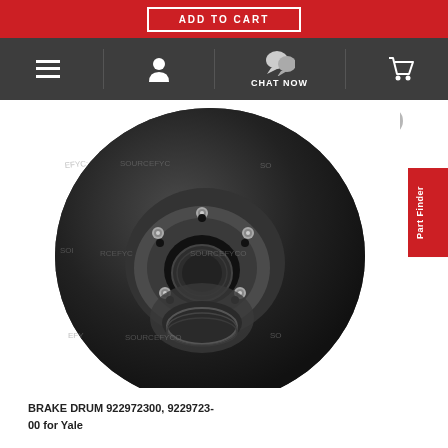ADD TO CART
[Figure (screenshot): Dark navigation bar with hamburger menu icon, user account icon, chat now icon with speech bubble, and shopping cart icon on dark grey background]
[Figure (photo): Brake drum part number 922972300, 9229723-00 for Yale forklift. Large circular black metal brake drum with hub, studs, and mounting holes, watermarked with SOURCEFYC text.]
BRAKE DRUM 922972300, 9229723-00 for Yale